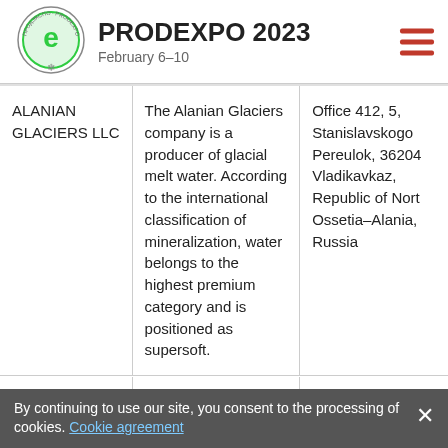PRODEXPO 2023 February 6–10
|  |  |  |
| --- | --- | --- |
| ALANIAN GLACIERS LLC | The Alanian Glaciers company is a producer of glacial melt water. According to the international classification of mineralization, water belongs to the highest premium category and is positioned as supersoft. | Office 412, 5, Stanislavskogo Pereulok, 362040 Vladikavkaz, Republic of North Ossetia–Alania, Russia |
| KACHETY LTD | Kachety Tomsk Winery is a... | 6/3, Kuzovievsk Trakt, 634059... |
By continuing to use our site, you consent to the processing of cookies. Cookie agreement